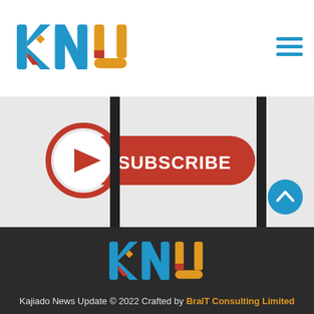[Figure (logo): KNU logo - colorful letters k, n, u in blue, red and orange]
[Figure (illustration): Hamburger menu icon in blue]
[Figure (illustration): YouTube-style red Subscribe button with play icon circle]
[Figure (logo): KNU footer logo - large colorful letters k, n, u in blue, red and orange on dark background]
Kajiado News Update © 2022 Crafted by BraIT Consulting Limited
[Figure (illustration): Social media icons: Facebook, Twitter, Instagram]